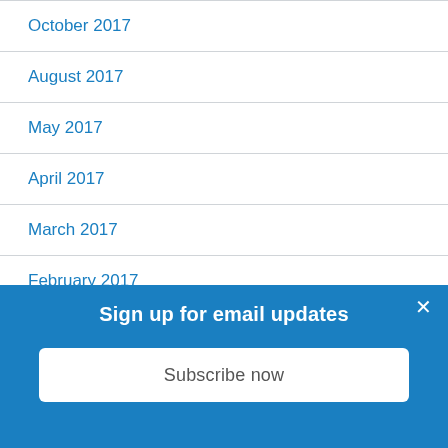October 2017
August 2017
May 2017
April 2017
March 2017
February 2017
January 2017
Sign up for email updates
Subscribe now